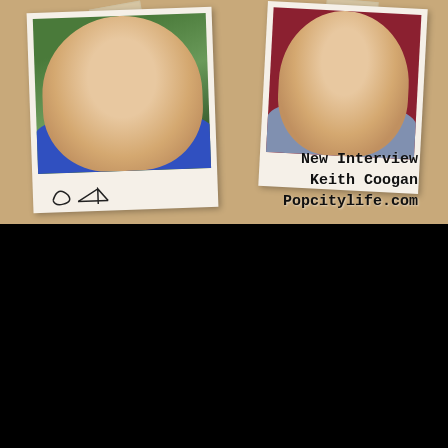[Figure (photo): Promotional image for PopCityLife.com featuring two polaroid-style photos on a cork board background. Left polaroid shows an adult man in a blue shirt smiling. Right polaroid shows a young teenage boy smiling against a red background. Text overlay reads 'New Interview Keith Coogan Popcitylife.com'. There is a paper airplane doodle on the left polaroid.]
[Figure (photo): Video thumbnail showing a blonde woman wearing a large floppy blue-grey hat, with a play button overlay in the center. Dark background. Black bar at top.]